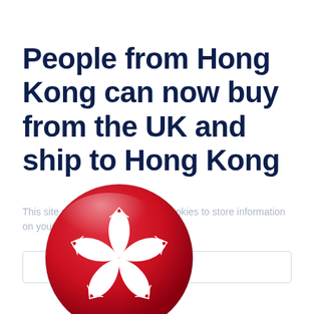People from Hong Kong can now buy from the UK and ship to Hong Kong
This site uses some unobtrusive cookies to store information on your computer. Learn More
[Figure (illustration): Hong Kong flag emblem as a glossy circular badge — red circle with white bauhinia flower (5 petals with 5 small red stars) on a glossy red background]